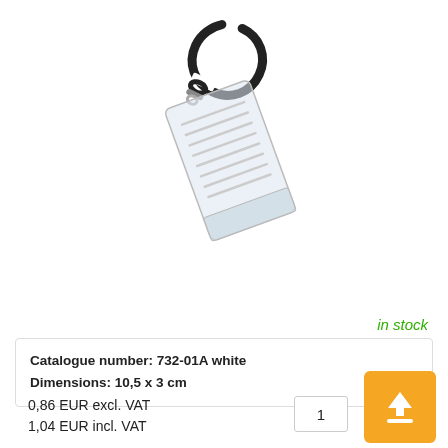[Figure (photo): A transparent plastic badge/card holder with horizontal ribbed pattern, attached to a black carabiner/swivel clip hook. The item is shown at a slight angle on white background.]
in stock
Catalogue number: 732-01A white
Dimensions: 10,5 x 3 cm
0,86 EUR excl. VAT
1,04 EUR incl. VAT